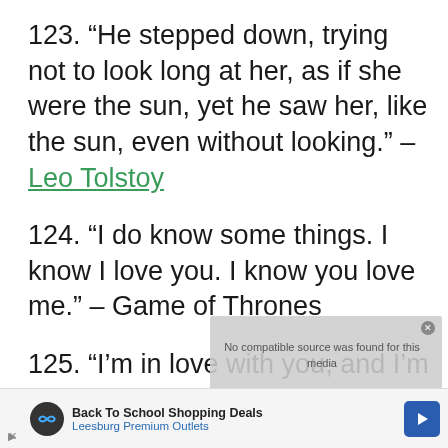123. “He stepped down, trying not to look long at her, as if she were the sun, yet he saw her, like the sun, even without looking.” – Leo Tolstoy
124. “I do know some things. I know I love you. I know you love me.” – Game of Thrones
125. “I’m in love with you, and I’m not in the business of denying myself the simple pleasure of saying true things. I’m in love with you, and I know that